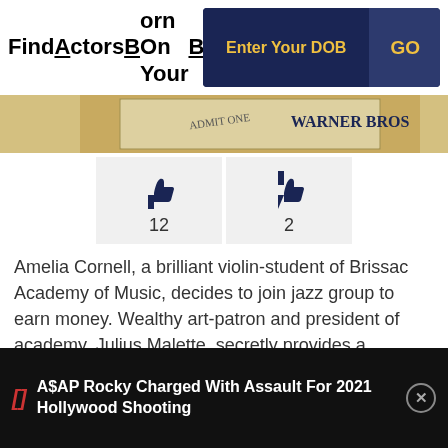Find Actors Born On Your Birthday?
[Figure (screenshot): Warner Bros logo/ticket strip image]
[Figure (infographic): Thumbs up icon with count 12 and thumbs down icon with count 2]
Amelia Cornell, a brilliant violin-student of Brissac Academy of Music, decides to join jazz group to earn money. Wealthy art-patron and president of academy, Julius Malette, secretly provides a scholarship through his executive, Tony, so she can continue her studies and accompany him to concerts. Complications arise when one evening Julius sends Tony to explain the reason of
A$AP Rocky Charged With Assault For 2021 Hollywood Shooting